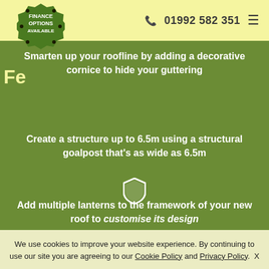📞 01992 582 351  ≡
[Figure (illustration): Green starburst badge with text FINANCE OPTIONS AVAILABLE]
Fe
Smarten up your roofline by adding a decorative cornice to hide your guttering
Create a structure up to 6.5m using a structural goalpost that's as wide as 6.5m
[Figure (illustration): White shield icon]
Add multiple lanterns to the framework of your new roof to customise its design
We use cookies to improve your website experience. By continuing to use our site you are agreeing to our Cookie Policy and Privacy Policy.  X